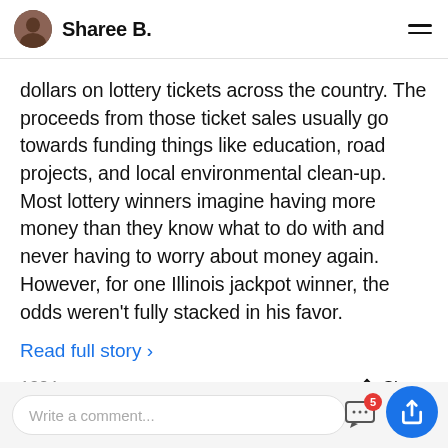Sharee B.
dollars on lottery tickets across the country. The proceeds from those ticket sales usually go towards funding things like education, road projects, and local environmental clean-up. Most lottery winners imagine having more money than they know what to do with and never having to worry about money again. However, for one Illinois jackpot winner, the odds weren't fully stacked in his favor.
Read full story >
1384 comments
Share
Write a comment...